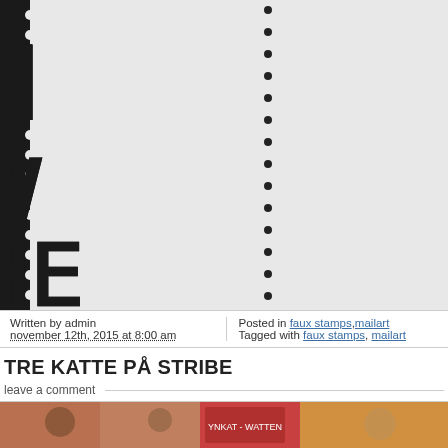[Figure (photo): Close-up of faux postage stamps showing large bold black reversed/mirrored text reading 'IN THE' arranged in rows, with perforated edges visible on left side and dotted perforation line in center. Two stamp panels side by side.]
Written by admin
november 12th, 2015 at 8:00 am
Posted in faux stamps, mailart
Tagged with faux stamps, mailart
TRE KATTE PÅ STRIBE
leave a comment
[Figure (photo): Bottom portion of a colorful image showing cats or similar subjects, partially cropped.]